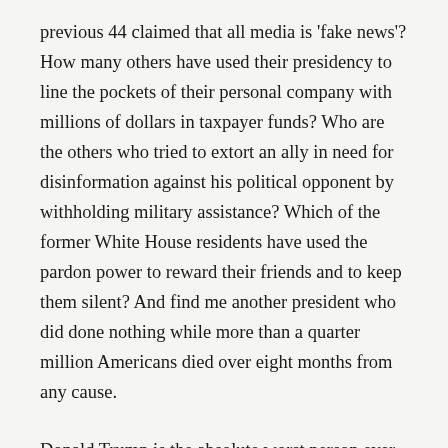previous 44 claimed that all media is 'fake news'? How many others have used their presidency to line the pockets of their personal company with millions of dollars in taxpayer funds? Who are the others who tried to extort an ally in need for disinformation against his political opponent by withholding military assistance? Which of the former White House residents have used the pardon power to reward their friends and to keep them silent? And find me another president who did done nothing while more than a quarter million Americans died over eight months from any cause.
Donald Trump is the absolute worst person ever to hold the office of the president in the history of our country, period. While some of the ones early on were just terrible, they had much less power and were therefore